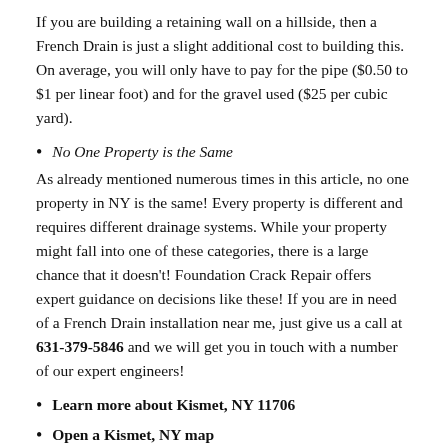If you are building a retaining wall on a hillside, then a French Drain is just a slight additional cost to building this. On average, you will only have to pay for the pipe ($0.50 to $1 per linear foot) and for the gravel used ($25 per cubic yard).
No One Property is the Same
As already mentioned numerous times in this article, no one property in NY is the same! Every property is different and requires different drainage systems. While your property might fall into one of these categories, there is a large chance that it doesn't! Foundation Crack Repair offers expert guidance on decisions like these! If you are in need of a French Drain installation near me, just give us a call at 631-379-5846 and we will get you in touch with a number of our expert engineers!
Learn more about Kismet, NY 11706
Open a Kismet, NY map